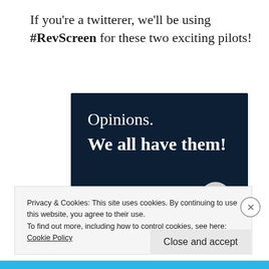If you're a twitterer, we'll be using #RevScreen for these two exciting pilots!
[Figure (screenshot): Dark navy advertisement banner with white serif text reading 'Opinions.' and bold 'We all have them!' with a pink button bar and grey circle at the bottom.]
Privacy & Cookies: This site uses cookies. By continuing to use this website, you agree to their use.
To find out more, including how to control cookies, see here:
Cookie Policy
Close and accept